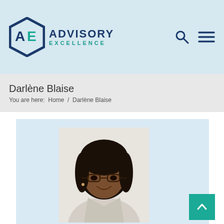[Figure (logo): Advisory Excellence logo with hexagon icon and text]
Darlène Blaise
You are here:  Home  /  Darlène Blaise
[Figure (photo): Professional headshot of Darlène Blaise, a woman with short dark hair and glasses, wearing a light jacket, smiling]